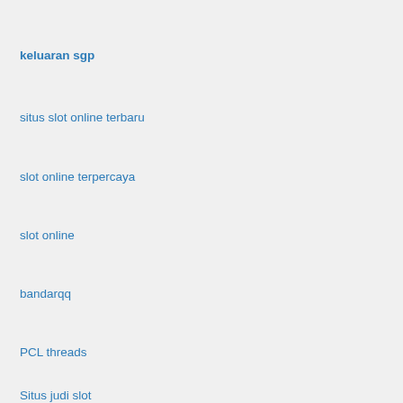keluaran sgp
situs slot online terbaru
slot online terpercaya
slot online
bandarqq
PCL threads
Situs judi slot